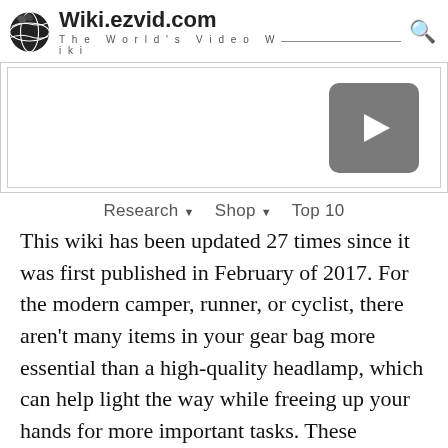Wiki.ezvid.com — The World's Video Wiki
[Figure (screenshot): Video player area with play button on a white background]
Research ▼   Shop ▼   Top 10
This wiki has been updated 27 times since it was first published in February of 2017. For the modern camper, runner, or cyclist, there aren't many items in your gear bag more essential than a high-quality headlamp, which can help light the way while freeing up your hands for more important tasks. These rechargeable units are gaining in popularity for their convenience and effectiveness, and they incorporate the latest technology to ensure your next outing is "illuminating" (groan). When users buy our independently chosen editorial selections, we may